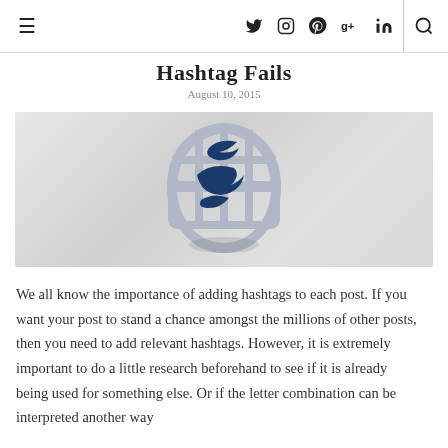≡  Twitter Instagram Pinterest Google+ LinkedIn  🔍
Hashtag Fails
August 10, 2015
[Figure (illustration): A 3D illustration of a hashtag symbol overlaid on a globe/cage structure with Twitter bird wings in dark navy blue, on a light grey gradient background.]
We all know the importance of adding hashtags to each post. If you want your post to stand a chance amongst the millions of other posts, then you need to add relevant hashtags. However, it is extremely important to do a little research beforehand to see if it is already being used for something else. Or if the letter combination can be interpreted another way